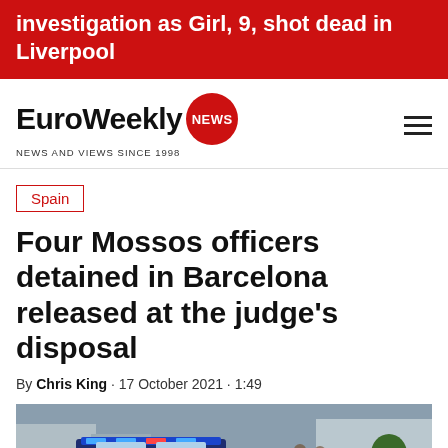investigation as Girl, 9, shot dead in Liverpool
[Figure (logo): EuroWeekly NEWS logo with red circle badge and tagline NEWS AND VIEWS SINCE 1998]
Spain
Four Mossos officers detained in Barcelona released at the judge’s disposal
By Chris King · 17 October 2021 · 1:49
[Figure (photo): Police car with 112 number visible, Mossos d'Esquadra vehicle in Barcelona street scene]